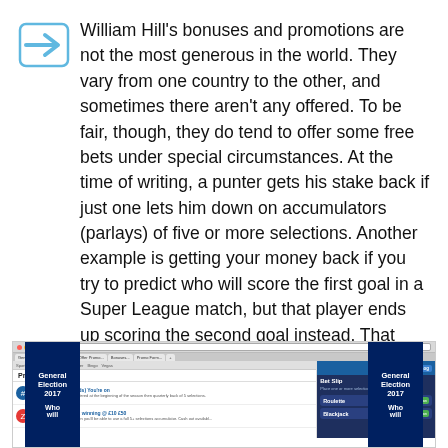William Hill's bonuses and promotions are not the most generous in the world. They vary from one country to the other, and sometimes there aren't any offered. To be fair, though, they do tend to offer some free bets under special circumstances. At the time of writing, a punter gets his stake back if just one lets him down on accumulators (parlays) of five or more selections. Another example is getting your money back if you try to predict who will score the first goal in a Super League match, but that player ends up scoring the second goal instead. That resembles more the type of bonus offered by this bookmaker.
[Figure (screenshot): Screenshot of William Hill website showing Promotions page with General Election 2017 banners on left and right, a promotions list in the center, and a Bet Slip with Roulette and Blackjack casino options on the right side.]